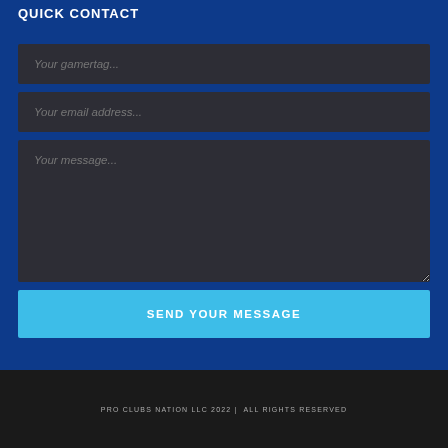QUICK CONTACT
Your gamertag...
Your email address...
Your message...
SEND YOUR MESSAGE
PRO CLUBS NATION LLC 2022 |  ALL RIGHTS RESERVED